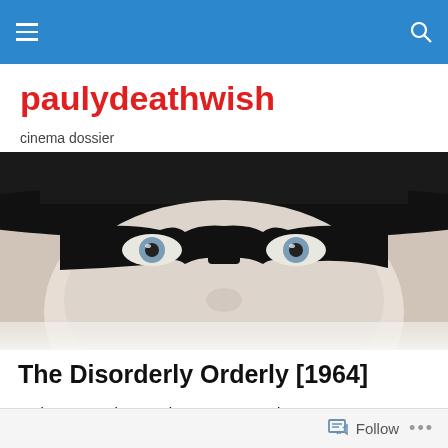paulydeathwish — cinema dossier — navigation bar
paulydeathwish
cinema dossier
[Figure (photo): Black and white close-up photo of a person wearing a black domino/bandit mask and a dark wide-brimmed hat, with piercing light-colored eyes visible above the mask.]
The Disorderly Orderly [1964]
So here’s another movie I was wrong about.
Follow ...